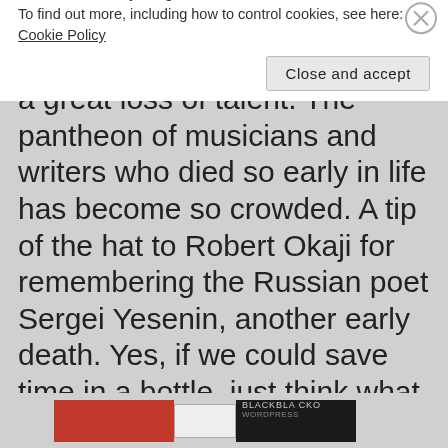recorded that tune. George died at 38 from a brain tumor, a great loss of talent. The pantheon of musicians and writers who died so early in life has become so crowded. A tip of the hat to Robert Okaji for remembering the Russian poet Sergei Yesenin, another early death. Yes, if we could save time in a bottle, just think what we could do. We could spend an
Privacy & Cookies: This site uses cookies. By continuing to use this website, you agree to their use.
To find out more, including how to control cookies, see here:
Cookie Policy
Close and accept